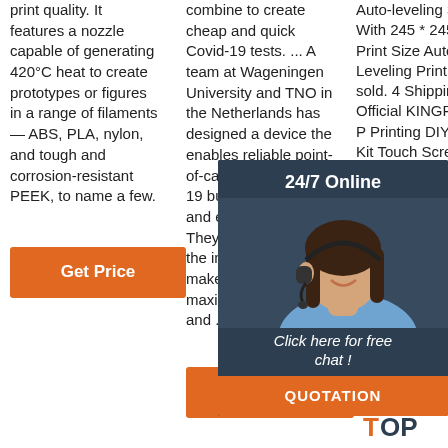print quality. It features a nozzle capable of generating 420°C heat to create prototypes or figures in a range of filaments — ABS, PLA, nylon, and tough and corrosion-resistant PEEK, to name a few.
combine to create cheap and quick Covid-19 tests. ... A team at Wageningen University and TNO in the Netherlands has designed a device the enables reliable point-of-care tests for Covid-19 but is also cheap and easy to make. They are freely sharing the instructions to make the test to maximise its impact and ...
Auto-leveling 3D printer With 245 * 245 * 260mm Print Size Automatic Leveling Printing $291.6 sold. 4 Shipping ANYC Official KINGR KP3S High P Printing DIY 3d printer Kit Touch Screen Pringting Size 180*180*180m US $155.47. 1632 sold.
[Figure (photo): Customer service representative woman with headset smiling, overlaid on dark navy background with '24/7 Online' header, 'Click here for free chat!' text, and orange QUOTATION button.]
[Figure (logo): TOP logo with orange dot pattern forming a triangle/arc above the word TOP in orange and dark text.]